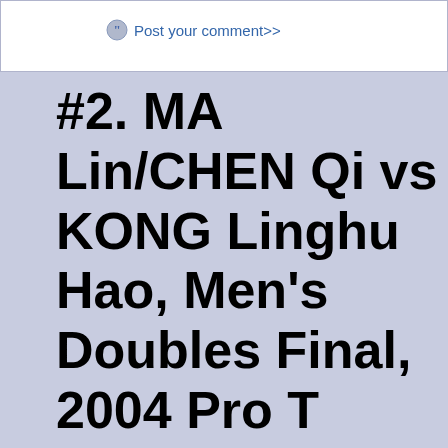Post your comment>>
#2. MA Lin/CHEN Qi vs KONG Linghu Hao, Men's Doubles Final, 2004 Pro T Finals.